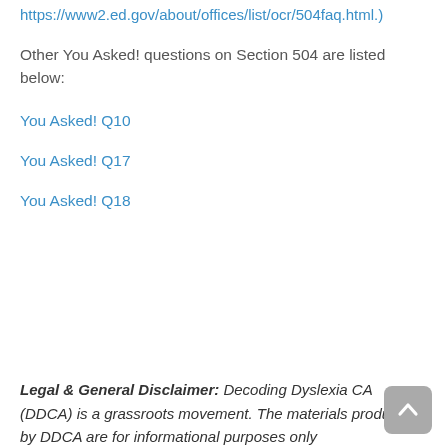https://www2.ed.gov/about/offices/list/ocr/504faq.html.)
Other You Asked! questions on Section 504 are listed below:
You Asked! Q10
You Asked! Q17
You Asked! Q18
Legal & General Disclaimer: Decoding Dyslexia CA (DDCA) is a grassroots movement. The materials produced by DDCA are for informational purposes only